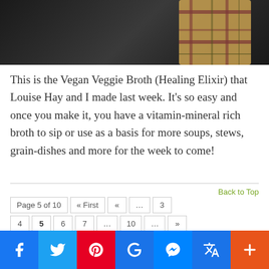[Figure (photo): Cropped food photograph showing plaid-wrapped items on a dark surface, top portion of image visible]
This is the Vegan Veggie Broth (Healing Elixir) that Louise Hay and I made last week. It's so easy and once you make it, you have a vitamin-mineral rich broth to sip or use as a basis for more soups, stews, grain-dishes and more for the week to come!
Back to Top
Page 5 of 10  « First  «  ...  3  4  5  6  7  ...  10  ...  »